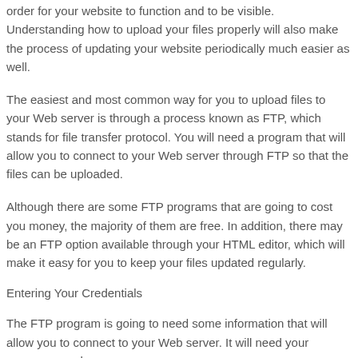order for your website to function and to be visible. Understanding how to upload your files properly will also make the process of updating your website periodically much easier as well.
The easiest and most common way for you to upload files to your Web server is through a process known as FTP, which stands for file transfer protocol. You will need a program that will allow you to connect to your Web server through FTP so that the files can be uploaded.
Although there are some FTP programs that are going to cost you money, the majority of them are free. In addition, there may be an FTP option available through your HTML editor, which will make it easy for you to keep your files updated regularly.
Entering Your Credentials
The FTP program is going to need some information that will allow you to connect to your Web server. It will need your username and